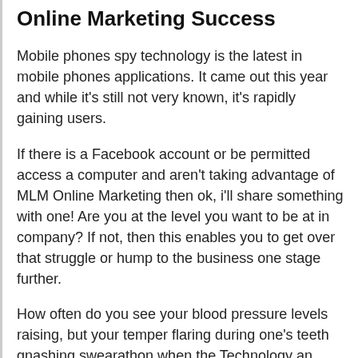Online Marketing Success
Mobile phones spy technology is the latest in mobile phones applications. It came out this year and while it's still not very known, it's rapidly gaining users.
If there is a Facebook account or be permitted access a computer and aren't taking advantage of MLM Online Marketing then ok, i'll share something with one! Are you at the level you want to be at in company? If not, then this enables you to get over that struggle or hump to the business one stage further.
How often do you see your blood pressure levels raising, but your temper flaring during one's teeth gnashing swearathon when the Technology an individual down? Once the computer crashes in the centre of an important document, as compared to the photocopier jams, as the mobile looses signal?